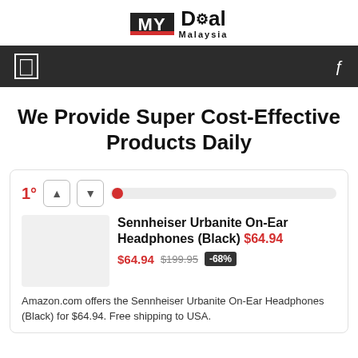[Figure (logo): MyDeal Malaysia logo — black MY box with red underline bar and Deal Malaysia text]
We Provide Super Cost-Effective Products Daily
1°
Sennheiser Urbanite On-Ear Headphones (Black) $64.94
$64.94 $199.95 -68%
Amazon.com offers the Sennheiser Urbanite On-Ear Headphones (Black) for $64.94. Free shipping to USA.